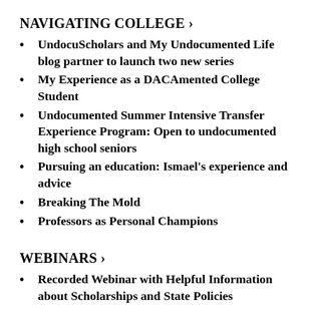NAVIGATING COLLEGE ›
UndocuScholars and My Undocumented Life blog partner to launch two new series
My Experience as a DACAmented College Student
Undocumented Summer Intensive Transfer Experience Program: Open to undocumented high school seniors
Pursuing an education: Ismael's experience and advice
Breaking The Mold
Professors as Personal Champions
WEBINARS ›
Recorded Webinar with Helpful Information about Scholarships and State Policies